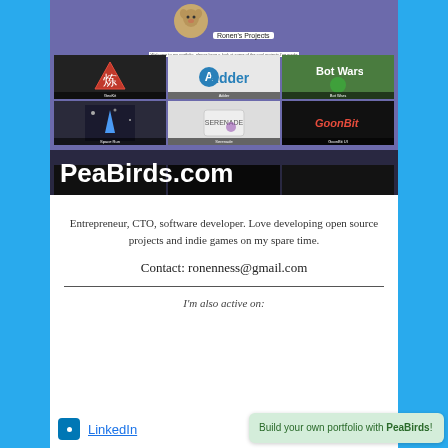[Figure (screenshot): Screenshot of PeaBirds.com portfolio website showing Ronen's Projects with a grid of project tiles including GeoKit, Adder, Bot Wars, Space Run, Serenade, and GoonBit, with PeaBirds.com overlay text]
Entrepreneur, CTO, software developer. Love developing open source projects and indie games on my spare time.
Contact: ronenness@gmail.com
I'm also active on:
[Figure (infographic): Tooltip box: Build your own portfolio with PeaBirds!]
LinkedIn